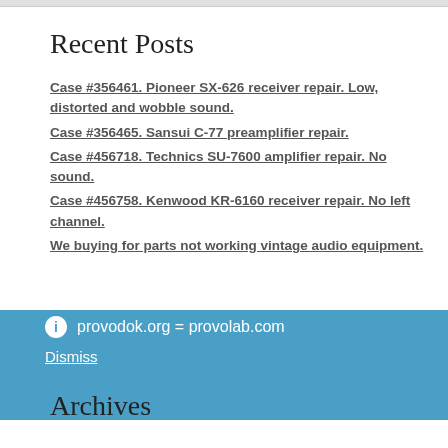Recent Posts
Case #356461. Pioneer SX-626 receiver repair. Low, distorted and wobble sound.
Case #356465. Sansui C-77 preamplifier repair.
Case #456718. Technics SU-7600 amplifier repair. No sound.
Case #456758. Kenwood KR-6160 receiver repair. No left channel.
We buying for parts not working vintage audio equipment.
ⓘ provodok.org = provolab.com
Dismiss
Archives